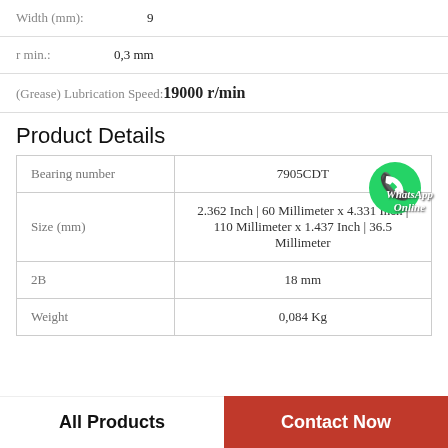Width (mm): 9
r min.: 0,3 mm
(Grease) Lubrication Speed: 19000 r/min
Product Details
|  |  |
| --- | --- |
| Bearing number | 7905CDT |
| Size (mm) | 2.362 Inch | 60 Millimeter x 4.331 Inch | 110 Millimeter x 1.437 Inch | 36.5 Millimeter |
| 2B | 18 mm |
| Weight | 0,084 Kg |
[Figure (illustration): WhatsApp contact button with green circle icon and 'WhatsApp Online' text overlay]
All Products
Contact Now